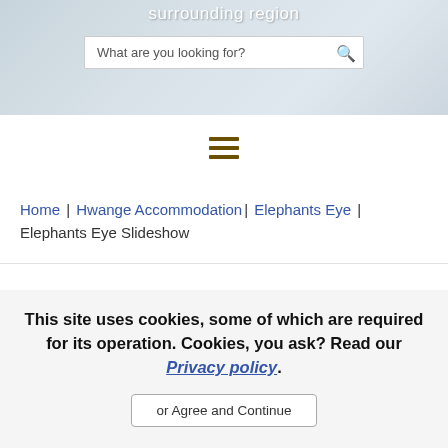[Figure (screenshot): Hero section with light blue-grey background and white text showing 'surrounding region' heading, with a search bar below]
[Figure (other): Navigation hamburger menu icon with three horizontal dark gold bars]
Home | Hwange Accommodation| Elephants Eye | Elephants Eye Slideshow
This site uses cookies, some of which are required for its operation. Cookies, you ask? Read our Privacy policy.
or Agree and Continue